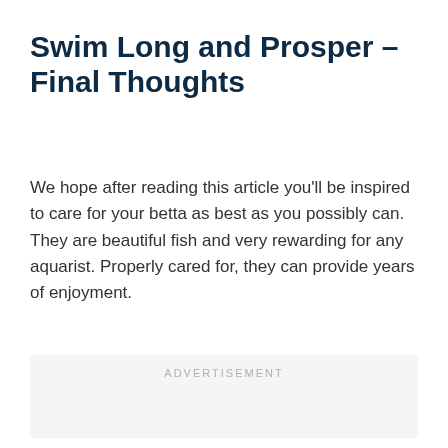Swim Long and Prosper – Final Thoughts
We hope after reading this article you'll be inspired to care for your betta as best as you possibly can. They are beautiful fish and very rewarding for any aquarist. Properly cared for, they can provide years of enjoyment.
[Figure (other): Advertisement placeholder box with 'ADVERTISEMENT' label text]